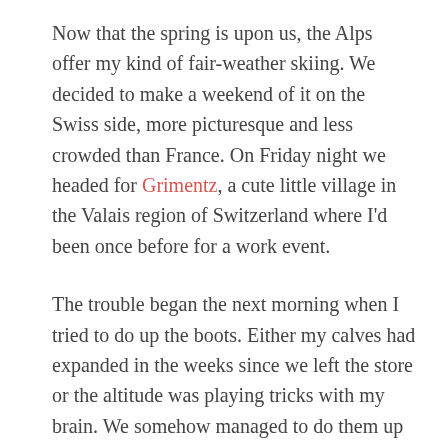Now that the spring is upon us, the Alps offer my kind of fair-weather skiing. We decided to make a weekend of it on the Swiss side, more picturesque and less crowded than France. On Friday night we headed for Grimentz, a cute little village in the Valais region of Switzerland where I'd been once before for a work event.
The trouble began the next morning when I tried to do up the boots. Either my calves had expanded in the weeks since we left the store or the altitude was playing tricks with my brain. We somehow managed to do them up but I was feeling pins and needles by the time we got to the télécabine.